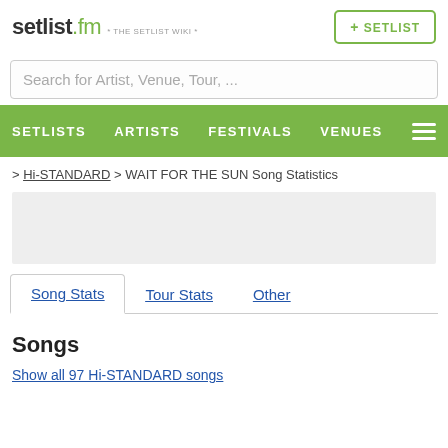setlist.fm * THE SETLIST WIKI *
Search for Artist, Venue, Tour, ...
SETLISTS  ARTISTS  FESTIVALS  VENUES
> Hi-STANDARD > WAIT FOR THE SUN Song Statistics
Song Stats  Tour Stats  Other
Songs
Show all 97 Hi-STANDARD songs